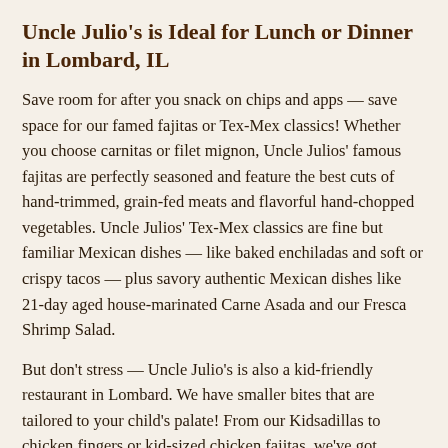Uncle Julio's is Ideal for Lunch or Dinner in Lombard, IL
Save room for after you snack on chips and apps — save space for our famed fajitas or Tex-Mex classics! Whether you choose carnitas or filet mignon, Uncle Julios' famous fajitas are perfectly seasoned and feature the best cuts of hand-trimmed, grain-fed meats and flavorful hand-chopped vegetables. Uncle Julios' Tex-Mex classics are fine but familiar Mexican dishes — like baked enchiladas and soft or crispy tacos — plus savory authentic Mexican dishes like 21-day aged house-marinated Carne Asada and our Fresca Shrimp Salad.
But don't stress — Uncle Julio's is also a kid-friendly restaurant in Lombard. We have smaller bites that are tailored to your child's palate! From our Kidsadillas to chicken fingers or kid-sized chicken fajitas, we've got something on our menu for even the pickiest of eaters.
Make Every Day a Fiesta with Authentic